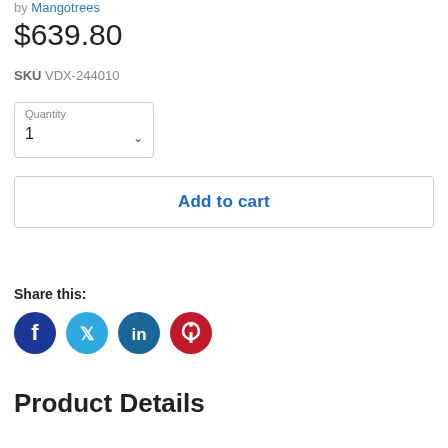by Mangotrees
$639.80
SKU VDX-244010
Quantity
1
Add to cart
Share this:
[Figure (illustration): Social media share icons: Facebook (dark blue), Twitter (light blue), LinkedIn (dark teal), Pinterest (red)]
Product Details